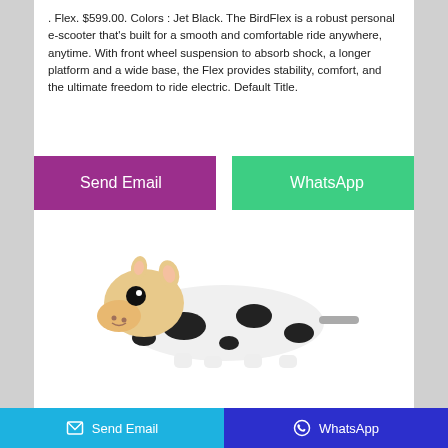. Flex. $599.00. Colors : Jet Black. The BirdFlex is a robust personal e-scooter that's built for a smooth and comfortable ride anywhere, anytime. With front wheel suspension to absorb shock, a longer platform and a wide base, the Flex provides stability, comfort, and the ultimate freedom to ride electric. Default Title.
[Figure (other): Two buttons: 'Send Email' (purple/magenta) and 'WhatsApp' (green)]
[Figure (photo): A stuffed animal toy resembling a cow or spotted animal lying down, with black and white spots pattern]
[Figure (other): Footer bar with two buttons: 'Send Email' (light blue background with email icon) and 'WhatsApp' (dark blue background with WhatsApp icon)]